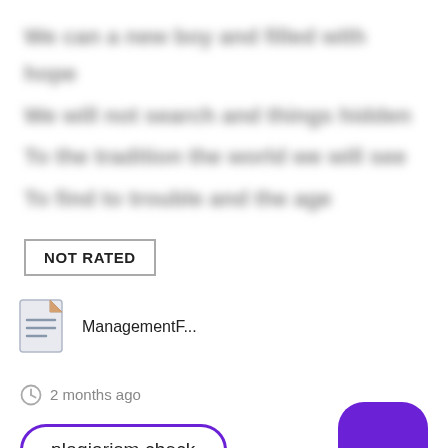[blurred text lines - redacted content]
NOT RATED
[Figure (other): File icon representing a document]
ManagementF...
2 months ago
plagiarism check